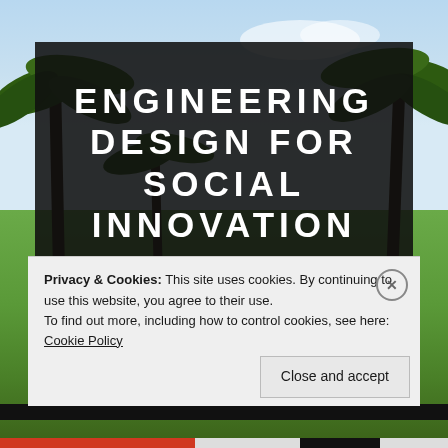[Figure (photo): Outdoor scene with palm trees and green rice fields under a blue sky, serving as background image]
ENGINEERING DESIGN FOR SOCIAL INNOVATION
Connecting the Dots Between People and Engineering
Privacy & Cookies: This site uses cookies. By continuing to use this website, you agree to their use.
To find out more, including how to control cookies, see here: Cookie Policy
Close and accept